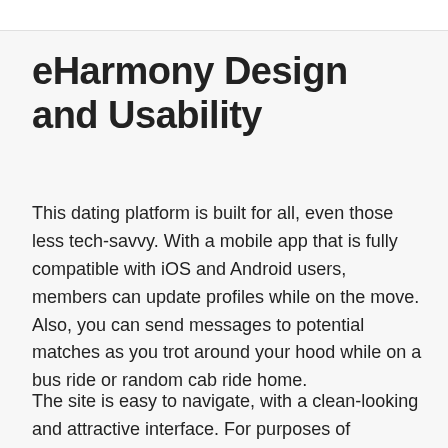eHarmony Design and Usability
This dating platform is built for all, even those less tech-savvy. With a mobile app that is fully compatible with iOS and Android users, members can update profiles while on the move. Also, you can send messages to potential matches as you trot around your hood while on a bus ride or random cab ride home.
The site is easy to navigate, with a clean-looking and attractive interface. For purposes of accommodating the vastly diverse membership base, neutral colors and